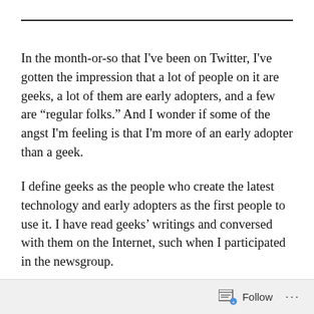In the month-or-so that I've been on Twitter, I've gotten the impression that a lot of people on it are geeks, a lot of them are early adopters, and a few are “regular folks.” And I wonder if some of the angst I'm feeling is that I'm more of an early adopter than a geek.
I define geeks as the people who create the latest technology and early adopters as the first people to use it. I have read geeks' writings and conversed with them on the Internet, such when I participated in the newsgroup.
Follow ···